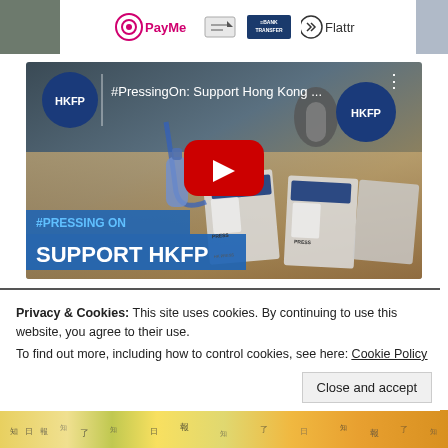[Figure (screenshot): Top banner showing payment method logos: PayMe, bank transfer icon, BANK TRANSFER logo, Flattr logo, with partial photo strips on left and right edges]
[Figure (screenshot): YouTube video thumbnail for '#PressingOn: Support Hong Kong ...' by HKFP. Shows press credentials/ID badges on a desk. Features HKFP circle logo top-left and top-right, YouTube red play button in center, and overlay text '#PRESSING ON' and 'SUPPORT HKFP' in blue banner at bottom-left.]
Privacy & Cookies: This site uses cookies. By continuing to use this website, you agree to their use.
To find out more, including how to control cookies, see here: Cookie Policy
[Figure (photo): Partial bottom strip showing colorful newspaper/magazine covers with Chinese text, partially cut off]